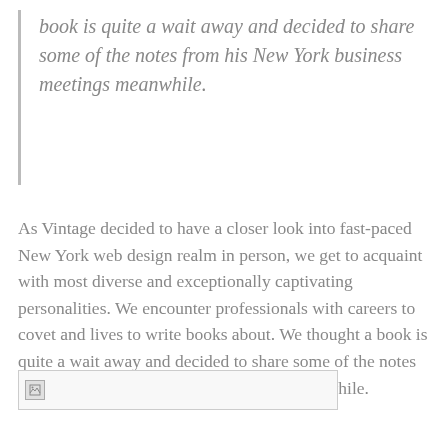book is quite a wait away and decided to share some of the notes from his New York business meetings meanwhile.
As Vintage decided to have a closer look into fast-paced New York web design realm in person, we get to acquaint with most diverse and exceptionally captivating personalities. We encounter professionals with careers to covet and lives to write books about. We thought a book is quite a wait away and decided to share some of the notes from his New York business meetings meanwhile.
[Figure (other): Broken image placeholder with a small broken image icon on the left, displayed as a wide rectangular box with a light border.]